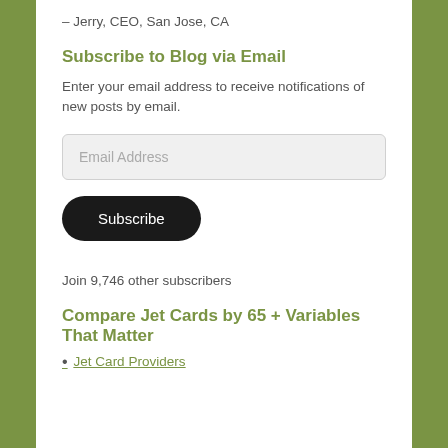– Jerry, CEO, San Jose, CA
Subscribe to Blog via Email
Enter your email address to receive notifications of new posts by email.
[Figure (other): Email address input field with placeholder text 'Email Address']
[Figure (other): Black rounded Subscribe button]
Join 9,746 other subscribers
Compare Jet Cards by 65 + Variables That Matter
Jet Card Providers